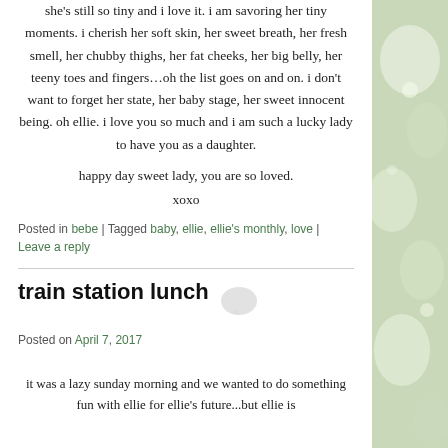she's still so tiny and i love it. i am savoring her tiny moments. i cherish her soft skin, her sweet breath, her fresh smell, her chubby thighs, her fat cheeks, her big belly, her teeny toes and fingers…oh the list goes on and on. i don't want to forget her state, her baby stage, her sweet innocent being. oh ellie. i love you so much and i am such a lucky lady to have you as a daughter.
happy day sweet lady, you are so loved.
xoxo
Posted in bebe | Tagged baby, ellie, ellie's monthly, love |
Leave a reply
train station lunch
Posted on April 7, 2017
it was a lazy sunday morning and we wanted to do something fun with ellie for ellie's future...but ellie is